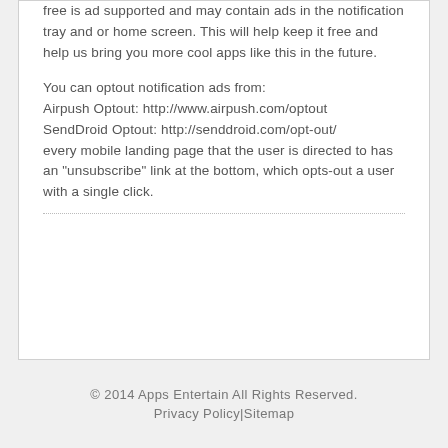free is ad supported and may contain ads in the notification tray and or home screen. This will help keep it free and help us bring you more cool apps like this in the future.
You can optout notification ads from:
Airpush Optout: http://www.airpush.com/optout
SendDroid Optout: http://senddroid.com/opt-out/
every mobile landing page that the user is directed to has an "unsubscribe" link at the bottom, which opts-out a user with a single click.
© 2014 Apps Entertain All Rights Reserved.
Privacy Policy|Sitemap